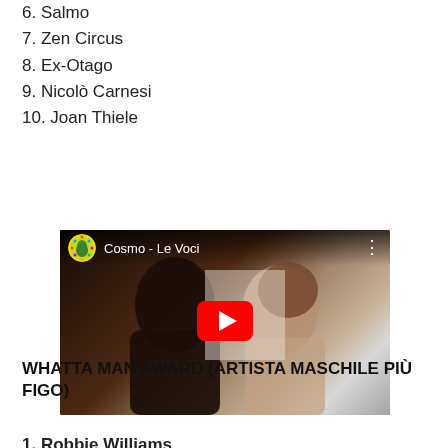6. Salmo
7. Zen Circus
8. Ex-Otago
9. Nicolò Carnesi
10. Joan Thiele
[Figure (screenshot): YouTube video embed showing 'Cosmo - Le Voci' with a couple about to kiss as the thumbnail and a red play button in the center.]
WHATTA MAN AWARD (ARTISTA MASCHILE PIÙ FIGO)
1. Robbie Williams